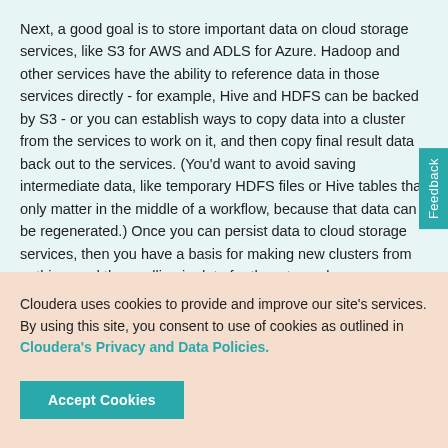Next, a good goal is to store important data on cloud storage services, like S3 for AWS and ADLS for Azure. Hadoop and other services have the ability to reference data in those services directly - for example, Hive and HDFS can be backed by S3 - or you can establish ways to copy data into a cluster from the services to work on it, and then copy final result data back out to the services. (You'd want to avoid saving intermediate data, like temporary HDFS files or Hive tables that only matter in the middle of a workflow, because that data can be regenerated.) Once you can persist data to cloud storage services, then you have a basis for making new clusters from nothing, and then pulling in data for them to work on.
Cloudera uses cookies to provide and improve our site's services. By using this site, you consent to use of cookies as outlined in Cloudera's Privacy and Data Policies.
Accept Cookies